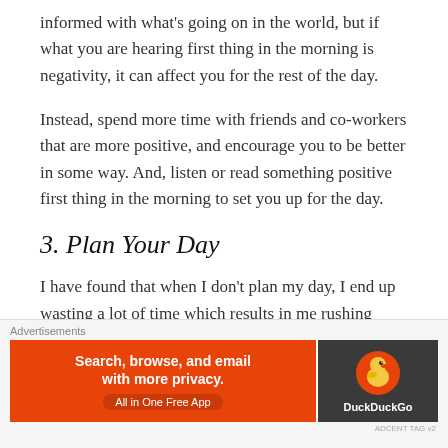informed with what's going on in the world, but if what you are hearing first thing in the morning is negativity, it can affect you for the rest of the day.
Instead, spend more time with friends and co-workers that are more positive, and encourage you to be better in some way. And, listen or read something positive first thing in the morning to set you up for the day.
3. Plan Your Day
I have found that when I don't plan my day, I end up wasting a lot of time which results in me rushing
Advertisements
[Figure (other): DuckDuckGo advertisement banner: orange left panel with text 'Search, browse, and email with more privacy. All in One Free App' and dark right panel with DuckDuckGo duck logo and brand name.]